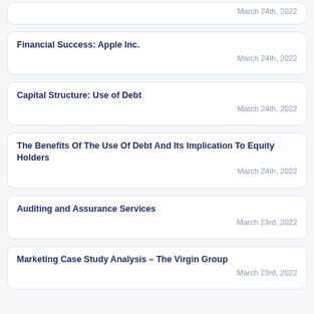March 24th, 2022
Financial Success: Apple Inc.
March 24th, 2022
Capital Structure: Use of Debt
March 24th, 2022
The Benefits Of The Use Of Debt And Its Implication To Equity Holders
March 24th, 2022
Auditing and Assurance Services
March 23rd, 2022
Marketing Case Study Analysis – The Virgin Group
March 23rd, 2022